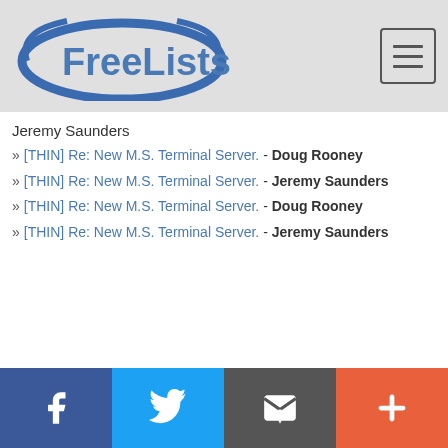FreeLists
Jeremy Saunders
» [THIN] Re: New M.S. Terminal Server. - Doug Rooney
» [THIN] Re: New M.S. Terminal Server. - Jeremy Saunders
» [THIN] Re: New M.S. Terminal Server. - Doug Rooney
» [THIN] Re: New M.S. Terminal Server. - Jeremy Saunders
f  Twitter  Email  +